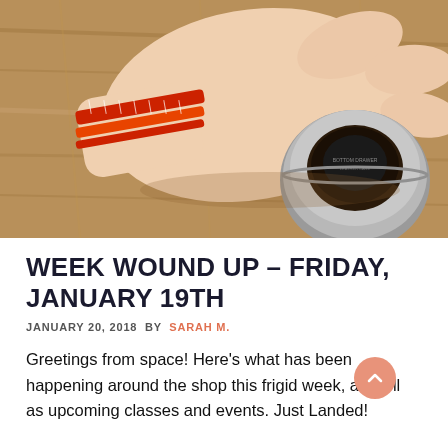[Figure (photo): A hand resting on a wooden table surface, wearing a red/orange ruler-patterned bracelet on the wrist. A small round tin container (possibly wax or balm) is placed on the table near the hand.]
WEEK WOUND UP – FRIDAY, JANUARY 19TH
JANUARY 20, 2018 BY SARAH M.
Greetings from space! Here's what has been happening around the shop this frigid week, as well as upcoming classes and events. Just Landed!